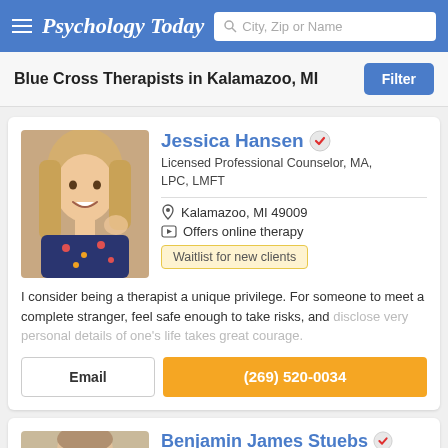Psychology Today — City, Zip or Name search
Blue Cross Therapists in Kalamazoo, MI
Jessica Hansen — Licensed Professional Counselor, MA, LPC, LMFT — Kalamazoo, MI 49009 — Offers online therapy — Waitlist for new clients
I consider being a therapist a unique privilege. For someone to meet a complete stranger, feel safe enough to take risks, and disclose very personal details of one's life takes great courage.
Email — (269) 520-0034
Benjamin James Stuebs — Licensed Professional Counselor, LPC